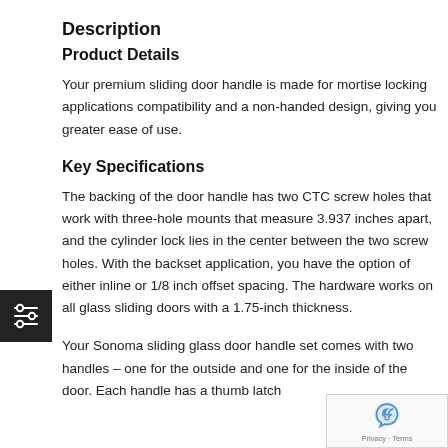Description
Product Details
Your premium sliding door handle is made for mortise locking applications compatibility and a non-handed design, giving you greater ease of use.
Key Specifications
The backing of the door handle has two CTC screw holes that work with three-hole mounts that measure 3.937 inches apart, and the cylinder lock lies in the center between the two screw holes. With the backset application, you have the option of either inline or 1/8 inch offset spacing. The hardware works on all glass sliding doors with a 1.75-inch thickness.
Your Sonoma sliding glass door handle set comes with two handles – one for the outside and one for the inside of the door. Each handle has a thumb latch